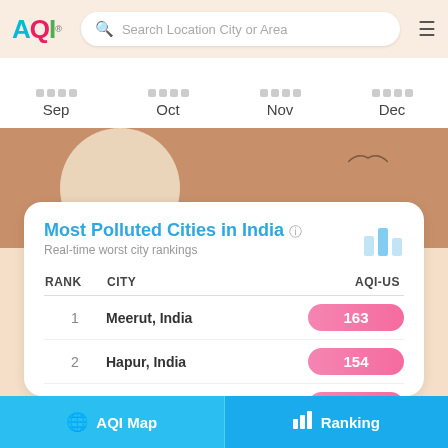AQI — Search Location City or Area
Sep   Oct   Nov   Dec
Most Polluted Cities in India
Real-time worst city rankings
| RANK | CITY | AQI-US |
| --- | --- | --- |
| 1 | Meerut, India | 163 |
| 2 | Hapur, India | 154 |
| 3 | Betma, India | 152 |
| 4 | Indore, India | 150 |
AQI Map   Ranking